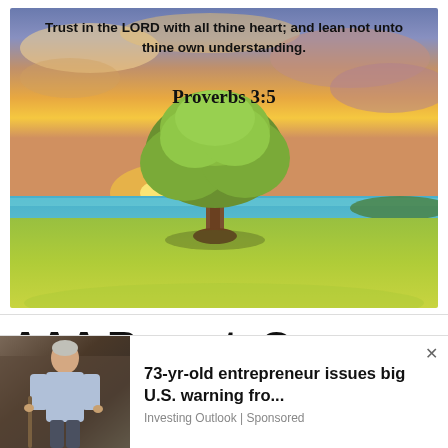[Figure (photo): Landscape photo of a lone tree on green grass near a body of water under a dramatic sunset sky with colorful clouds. Overlaid with Bible verse text.]
Trust in the LORD with all thine heart; and lean not unto thine own understanding.
Proverbs 3:5
AAA Report: Gas
[Figure (photo): Advertisement overlay showing an elderly man and text: 73-yr-old entrepreneur issues big U.S. warning fro... Investing Outlook | Sponsored]